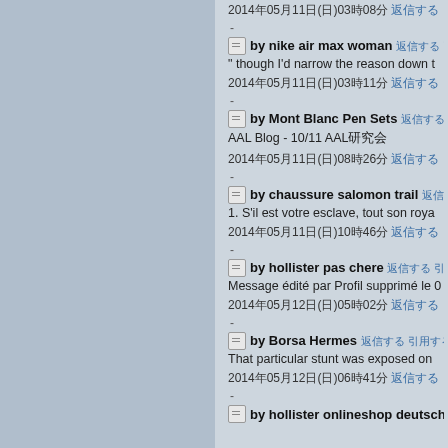2014年05月11日(日)03時08分 返信する
 by nike air max woman 返信する 引用する
" though I'd narrow the reason down t
2014年05月11日(日)03時11分 返信する
 by Mont Blanc Pen Sets 返信する 引用する
 AAL Blog - 10/11 AAL研究会
2014年05月11日(日)08時26分 返信する
 by chaussure salomon trail 返信する
 1. S'il est votre esclave, tout son roya
2014年05月11日(日)10時46分 返信する
 by hollister pas chere 返信する 引用する
 Message édité par Profil supprimé le 0
2014年05月12日(日)05時02分 返信する
 by Borsa Hermes 返信する 引用する
 That particular stunt was exposed on
2014年05月12日(日)06時41分 返信する
 by hollister onlineshop deutsch